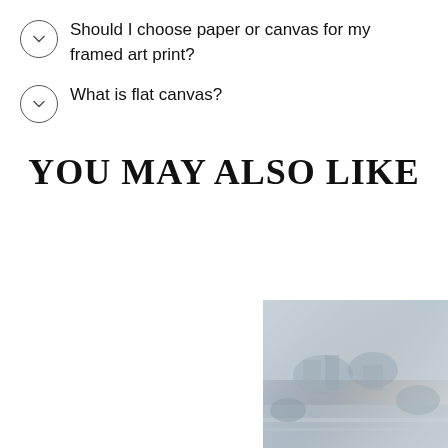Should I choose paper or canvas for my framed art print?
What is flat canvas?
YOU MAY ALSO LIKE
[Figure (photo): Product image of an old village painting, muted blue-grey tones]
OLD VILLAGE
from $20.00